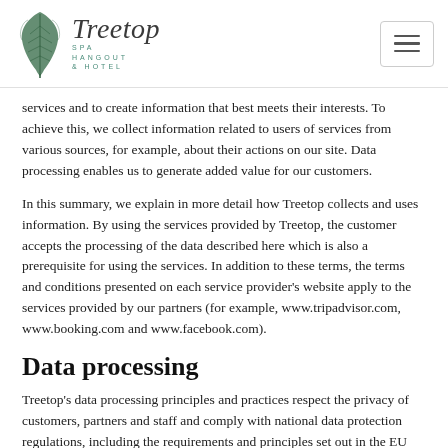Treetop Spa Hangout & Hotel
services and to create information that best meets their interests. To achieve this, we collect information related to users of services from various sources, for example, about their actions on our site. Data processing enables us to generate added value for our customers.
In this summary, we explain in more detail how Treetop collects and uses information. By using the services provided by Treetop, the customer accepts the processing of the data described here which is also a prerequisite for using the services. In addition to these terms, the terms and conditions presented on each service provider's website apply to the services provided by our partners (for example, www.tripadvisor.com, www.booking.com and www.facebook.com).
Data processing
Treetop's data processing principles and practices respect the privacy of customers, partners and staff and comply with national data protection regulations, including the requirements and principles set out in the EU General Data Protection Regulation (GDPR). We process…